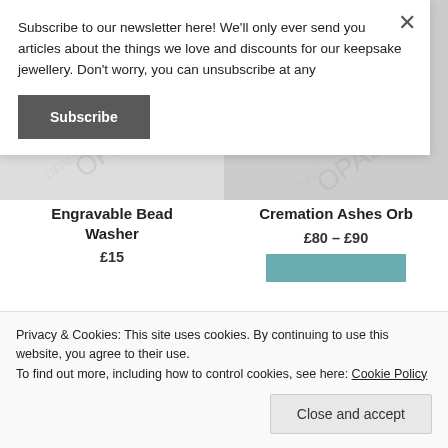[Figure (screenshot): Product images showing jewellery items with OPALS watermark text, two items side by side]
Engravable Bead Washer
£15
Cremation Ashes Orb
£80 – £90
Subscribe to our newsletter here! We'll only ever send you articles about the things we love and discounts for our keepsake jewellery. Don't worry, you can unsubscribe at any
Subscribe
Privacy & Cookies: This site uses cookies. By continuing to use this website, you agree to their use.
To find out more, including how to control cookies, see here: Cookie Policy
Close and accept